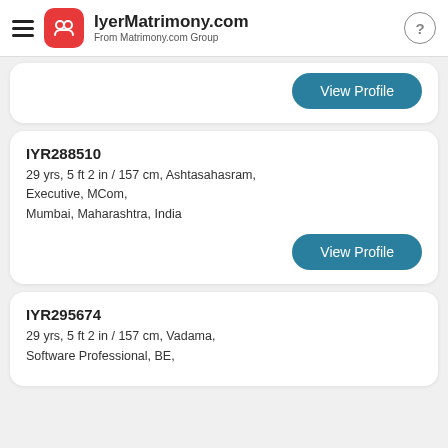IyerMatrimony.com From Matrimony.com Group
View Profile
IYR288510
29 yrs, 5 ft 2 in / 157 cm, Ashtasahasram, Executive, MCom, Mumbai, Maharashtra, India
View Profile
IYR295674
29 yrs, 5 ft 2 in / 157 cm, Vadama, Software Professional, BE,